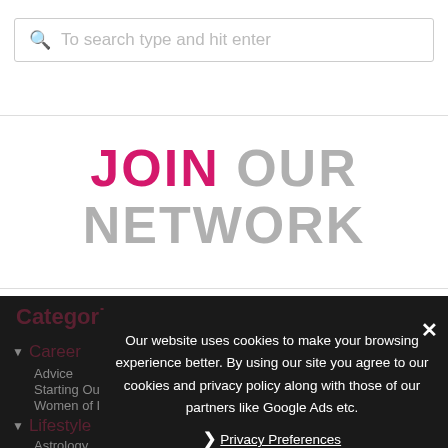[Figure (screenshot): Search bar with magnifying glass icon and placeholder text 'To search type and hit enter']
JOIN OUR NETWORK
Categories
Career
Advice
Starting Out
Women of Impact
Lifestyle
Astrology
Our website uses cookies to make your browsing experience better. By using our site you agree to our cookies and privacy policy along with those of our partners like Google Ads etc.
Privacy Preferences
I Agree